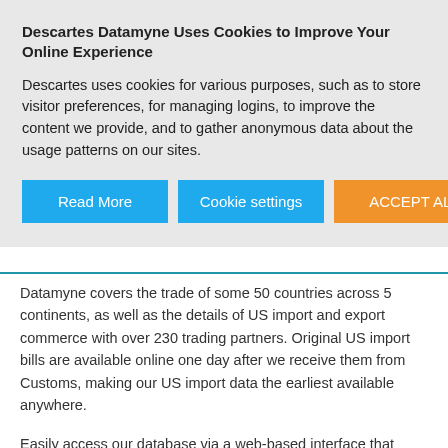Descartes Datamyne Uses Cookies to Improve Your Online Experience
Descartes uses cookies for various purposes, such as to store visitor preferences, for managing logins, to improve the content we provide, and to gather anonymous data about the usage patterns on our sites.
Datamyne covers the trade of some 50 countries across 5 continents, as well as the details of US import and export commerce with over 230 trading partners. Original US import bills are available online one day after we receive them from Customs, making our US import data the earliest available anywhere.
Easily access our database via a web-based interface that speeds and simplifies trade data research, delivering the information you need for successful marketing, prospecting and